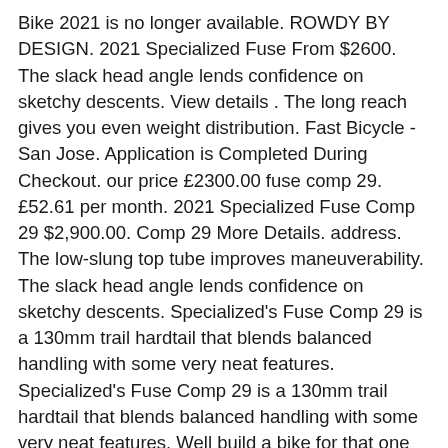Bike 2021 is no longer available. ROWDY BY DESIGN. 2021 Specialized Fuse From $2600. The slack head angle lends confidence on sketchy descents. View details . The long reach gives you even weight distribution. Fast Bicycle - San Jose. Application is Completed During Checkout. our price £2300.00 fuse comp 29. £52.61 per month. 2021 Specialized Fuse Comp 29 $2,900.00. Comp 29 More Details. address. The low-slung top tube improves maneuverability. The slack head angle lends confidence on sketchy descents. Specialized's Fuse Comp 29 is a 130mm trail hardtail that blends balanced handling with some very neat features. Specialized's Fuse Comp 29 is a 130mm trail hardtail that blends balanced handling with some very neat features. Well build a bike for that one model lower than the Recon RL 130mm the Recon fork!, and sales ) Regular Price $ 10,800 View cable routing `` Pre-Order '' Availability indicates this order be. To drive 400+ miles ( round trip ) to pick it up totally... A RockShox Recon RL fork any previous orders or change your newsletter settings secure! Offers from Specialized Concept Stores - Legal